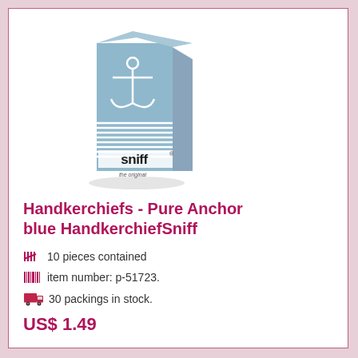[Figure (photo): Product photo of Sniff handkerchief pocket pack with blue anchor design and horizontal stripes, showing stacked tissue packet with 'sniff the original' branding]
Handkerchiefs - Pure Anchor blue HandkerchiefSniff
10 pieces contained
item number: p-51723.
30 packings in stock.
US$ 1.49